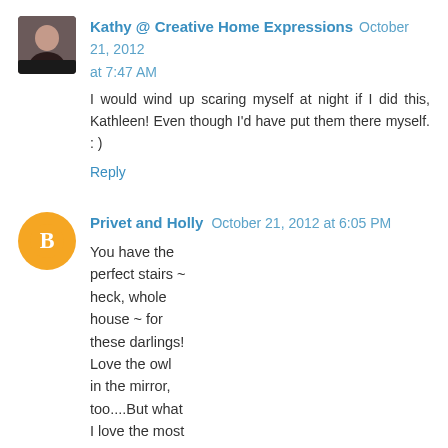Kathy @ Creative Home Expressions October 21, 2012 at 7:47 AM
I would wind up scaring myself at night if I did this, Kathleen! Even though I'd have put them there myself. : )
Reply
Privet and Holly October 21, 2012 at 6:05 PM
You have the perfect stairs ~ heck, whole house ~ for these darlings! Love the owl in the mirror, too....But what I love the most is your child-like heart, embracing all the season has to offer. : )!!